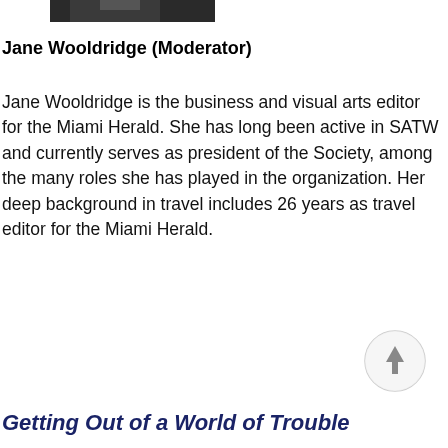[Figure (photo): Bottom portion of a person's photo (cropped head/shoulders), dark tones]
Jane Wooldridge (Moderator)
Jane Wooldridge is the business and visual arts editor for the Miami Herald. She has long been active in SATW and currently serves as president of the Society, among the many roles she has played in the organization. Her deep background in travel includes 26 years as travel editor for the Miami Herald.
[Figure (other): Back-to-top button: circle with upward arrow icon]
Getting Out of a World of Trouble